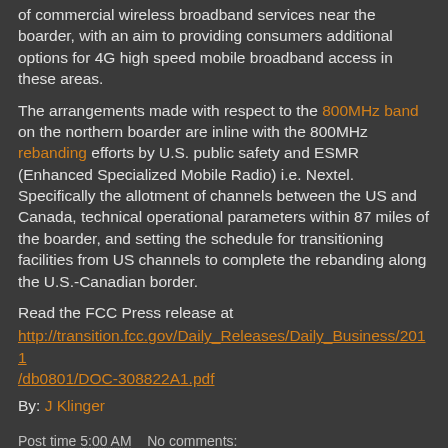of commercial wireless broadband services near the boarder, with an aim to providing consumers additional options for 4G high speed mobile broadband access in these areas.
The arrangements made with respect to the 800MHz band on the northern boarder are inline with the 800MHz rebanding efforts by U.S. public safety and ESMR (Enhanced Specialized Mobile Radio) i.e. Nextel. Specifically the allotment of channels between the US and Canada, technical operational parameters within 87 miles of the boarder, and setting the schedule for transitioning facilities from US channels to complete the rebanding along the U.S.-Canadian border.
Read the FCC Press release at
http://transition.fcc.gov/Daily_Releases/Daily_Business/2011/db0801/DOC-308822A1.pdf
By: J Klinger
Post time 5:00 AM   No comments:
Share